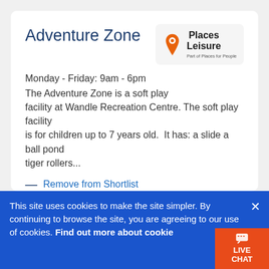Adventure Zone
[Figure (logo): Places Leisure logo with orange swoosh/pin icon. Text reads 'Places Leisure' with subtitle 'Part of Places for People']
Monday - Friday: 9am - 6pm
The Adventure Zone is a soft play facility at Wandle Recreation Centre. The soft play facility is for children up to 7 years old.  It has: a slide a ball pond tiger rollers...
— Remove from Shortlist
020 8871 1149
enquiries@wandlerecreationcentre.co.uk
Website
This site uses cookies to make the site simpler. By continuing to browse the site, you are agreeing to our use of cookies. Find out more about cookies